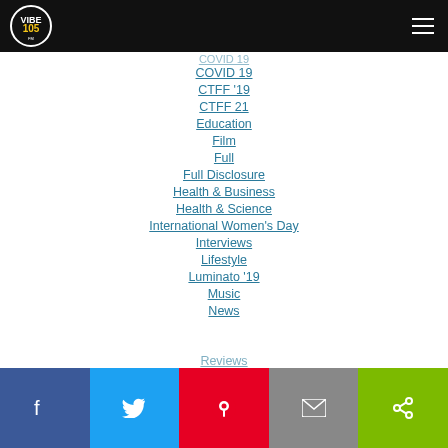Vibe 105 navigation menu header
COVID 19
COVID 19
CTFF '19
CTFF 21
Education
Film
Full
Full Disclosure
Health & Business
Health & Science
International Women's Day
Interviews
Lifestyle
Luminato '19
Music
News
Reviews
Facebook | Twitter | Pinterest | Email | Share